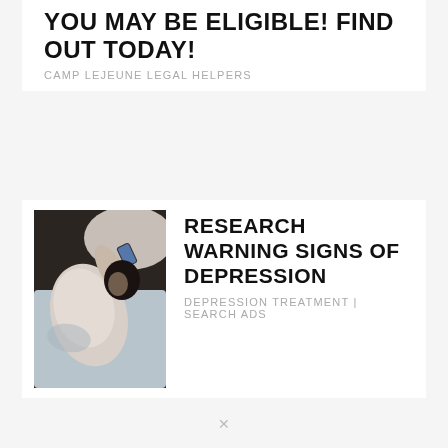YOU MAY BE ELIGIBLE! FIND OUT TODAY!
CAMP LEJEUNE LEGAL HELPERS
[Figure (photo): Person lying in bed, viewed from above, curled up and holding a phone, wearing a light-colored shirt, dark surroundings with white pillow and bedding]
RESEARCH WARNING SIGNS OF DEPRESSION
DEPRESSION TREATMENT | SEARCH ADS